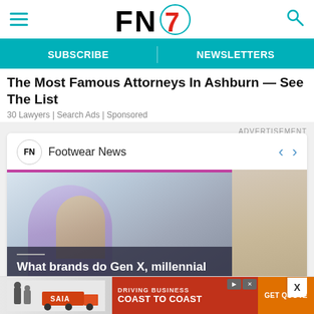FN7 — Footwear News website header with hamburger menu, FN7 logo, and search icon
SUBSCRIBE | NEWSLETTERS
The Most Famous Attorneys In Ashburn — See The List
30 Lawyers | Search Ads | Sponsored
ADVERTISEMENT
[Figure (screenshot): Footwear News sponsored content widget showing article card: 'What brands do Gen X, millennial and Gen Z' with a photo of a person sitting in a shopping context, and a partial secondary image.]
[Figure (screenshot): Bottom banner advertisement for SAIA freight: 'DRIVING BUSINESS COAST TO COAST' with GET QUOTE button]